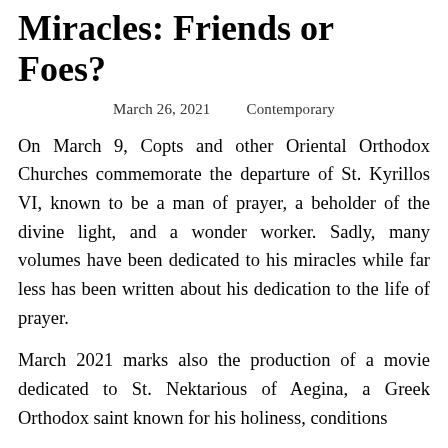Miracles: Friends or Foes?
March 26, 2021    Contemporary
On March 9, Copts and other Oriental Orthodox Churches commemorate the departure of St. Kyrillos VI, known to be a man of prayer, a beholder of the divine light, and a wonder worker. Sadly, many volumes have been dedicated to his miracles while far less has been written about his dedication to the life of prayer.
March 2021 marks also the production of a movie dedicated to St. Nektarious of Aegina, a Greek Orthodox saint known for his holiness, traditions...